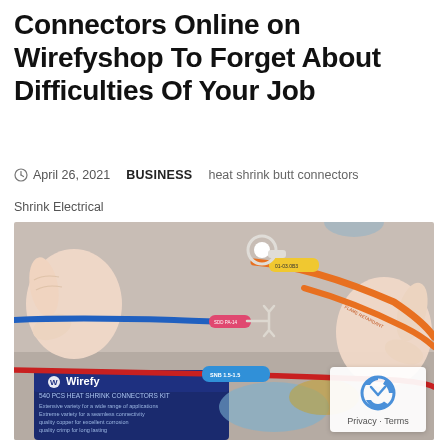Connectors Online on Wirefyshop To Forget About Difficulties Of Your Job
April 26, 2021  BUSINESS  heat shrink butt connectors
Shrink Electrical
[Figure (photo): Photo showing heat shrink butt connectors — colorful wires (blue, red, orange) with pink, blue, and yellow heat shrink connectors being held by hands, plus a ring terminal and fork terminal connector, and a Wirefy 540 PCS heat shrink connectors kit box in the lower left.]